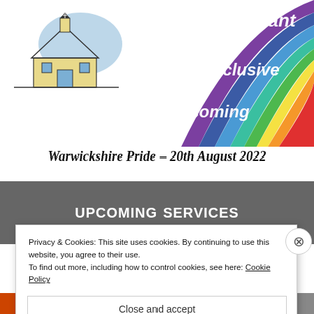[Figure (illustration): Church building logo/illustration with a steeple, in black and white sketch style with blue sky background]
[Figure (illustration): Rainbow pride graphic with curved rainbow stripes (violet, blue, green, yellow, orange, red) sweeping from top-right corner downward. White cursive text reads 'Vibrant', 'Inclusive', 'Welcoming' overlaid on the rainbow.]
Warwickshire Pride – 20th August 2022
UPCOMING SERVICES
Privacy & Cookies: This site uses cookies. By continuing to use this website, you agree to their use.
To find out more, including how to control cookies, see here: Cookie Policy
Close and accept